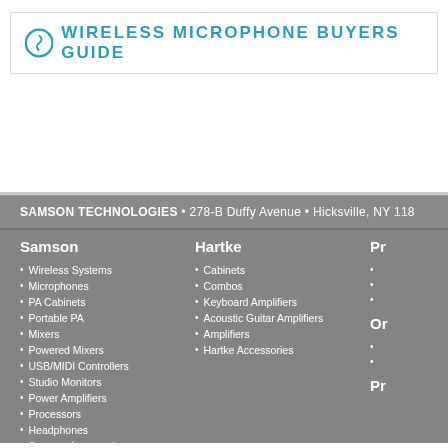WIRELESS MICROPHONE BUYERS GUIDE
SAMSON TECHNOLOGIES • 278-B Duffy Avenue • Hicksville, NY 118...
Samson
Wireless Systems
Microphones
PA Cabinets
Portable PA
Mixers
Powered Mixers
USB/MIDI Controllers
Studio Monitors
Power Amplifiers
Processors
Headphones
Samson Accessories
Hartke
Cabinets
Combos
Keyboard Amplifiers
Acoustic Guitar Amplifiers
Amplifiers
Hartke Accessories
Pr...
Or...
Pr...